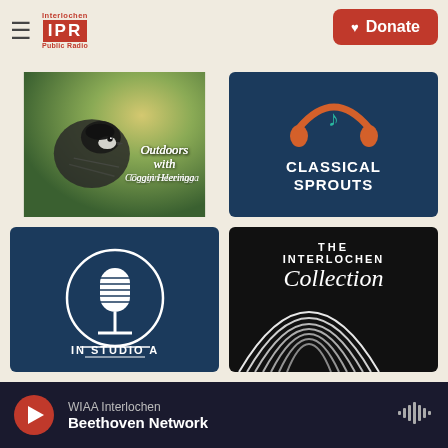Interlochen IPR Public Radio | Donate
[Figure (illustration): Outdoors with Coggin Heeringa podcast tile — photo of a chickadee bird against a green/yellow bokeh background with italic white text overlay]
[Figure (illustration): Classical Sprouts podcast tile — dark navy background with orange headphones and teal music note icon, white bold text CLASSICAL SPROUTS]
[Figure (illustration): In Studio A podcast tile — dark navy background with white vintage microphone illustration inside a circle, text IN STUDIO A]
[Figure (illustration): The Interlochen Collection podcast tile — black background with white vinyl record arc graphic, white text THE INTERLOCHEN Collection]
WIAA Interlochen Beethoven Network